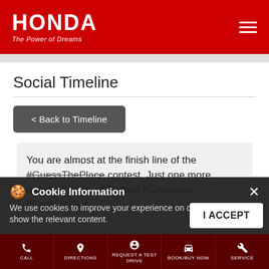[Figure (logo): Honda logo with 'The Power of Dreams' tagline on red header, with hamburger menu icon]
Social Timeline
< Back to Timeline
You are almost at the finish line of the #GuessThePlace contest. Just one more question to go. #Contest #Giveaway #ContestAlert
Cookie Information
We use cookies to improve your experience on our site and to show the relevant content.
I ACCEPT
CALL  DIRECTIONS  REQUEST A TEST DRIVE  BOOK/BUY NOW  SERVICE